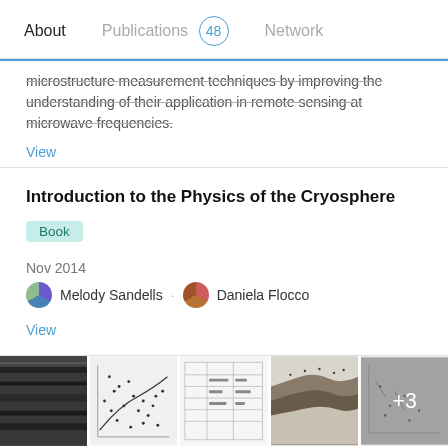About | Publications 48 | Network
... microstructure measurement techniques by improving the understanding of their application in remote sensing at microwave frequencies.
View
Introduction to the Physics of the Cryosphere
Book
Nov 2014
Melody Sandells · Daniela Flocco
View
[Figure (photo): Row of 5 thumbnail images related to a snow stratigraphic study. Images include: a grayscale layered snow cross-section photo, a scatter plot diagram, a table/chart figure, a terrain cross-section diagram, and a scatter diagram with +3 overlay indicating more images.]
Snow stratigraphic heterogeneity within ground-based passive microwave radiometer footprints: Implications for